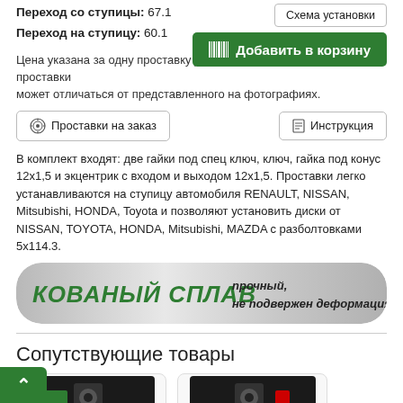Переход со ступицы: 67.1
Переход на ступицу: 60.1
Схема установки
Добавить в корзину
Цена указана за одну проставку для колесного диска. Цвет проставки может отличаться от представленного на фотографиях.
Проставки на заказ
Инструкция
В комплект входят: две гайки под спец ключ, ключ, гайка под конус 12х1,5 и экцентрик с входом и выходом 12х1,5. Проставки легко устанавливаются на ступицу автомобиля RENAULT, NISSAN, Mitsubishi, HONDA, Toyota и позволяют установить диски от NISSAN, TOYOTA, HONDA, Mitsubishi, MAZDA с разболтовками 5x114.3.
[Figure (illustration): Banner with text: КОВАНЫЙ СПЛАВ прочный, не подвержен деформациям]
Сопутствующие товары
[Figure (photo): Related product card 1]
[Figure (photo): Related product card 2]